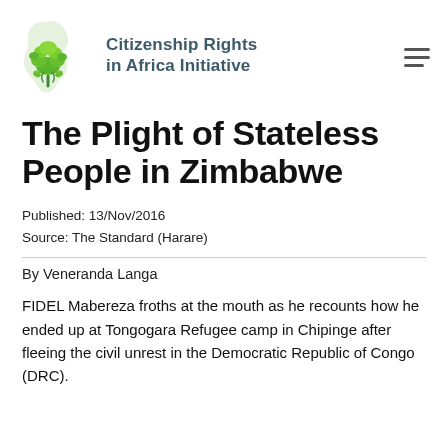[Figure (logo): Citizenship Rights in Africa Initiative logo — green tree on Africa map silhouette with organization name in dark teal]
The Plight of Stateless People in Zimbabwe
Published: 13/Nov/2016
Source: The Standard (Harare)
By Veneranda Langa
FIDEL Mabereza froths at the mouth as he recounts how he ended up at Tongogara Refugee camp in Chipinge after fleeing the civil unrest in the Democratic Republic of Congo (DRC).